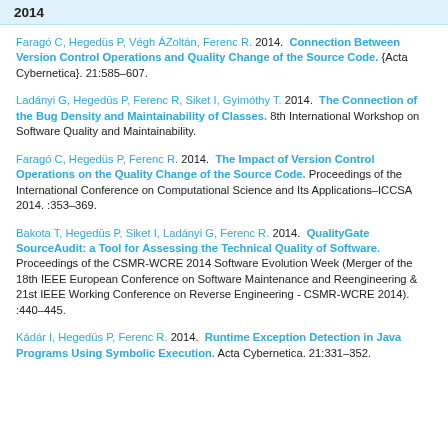2014
Faragó C, Hegedüs P, Végh ÁZoltán, Ferenc R.  2014.  Connection Between Version Control Operations and Quality Change of the Source Code.  {Acta Cybernetica}. 21:585–607.
Ladányi G, Hegedüs P, Ferenc R, Siket I, Gyimóthy T.  2014.  The Connection of the Bug Density and Maintainability of Classes. 8th International Workshop on Software Quality and Maintainability.
Faragó C, Hegedüs P, Ferenc R.  2014.  The Impact of Version Control Operations on the Quality Change of the Source Code. Proceedings of the International Conference on Computational Science and Its Applications–ICCSA 2014. :353–369.
Bakota T, Hegedüs P, Siket I, Ladányi G, Ferenc R.  2014.  QualityGate SourceAudit: a Tool for Assessing the Technical Quality of Software. Proceedings of the CSMR-WCRE 2014 Software Evolution Week (Merger of the 18th IEEE European Conference on Software Maintenance and Reengineering & 21st IEEE Working Conference on Reverse Engineering - CSMR-WCRE 2014). :440–445.
Kádár I, Hegedüs P, Ferenc R.  2014.  Runtime Exception Detection in Java Programs Using Symbolic Execution. Acta Cybernetica. 21:331–352.